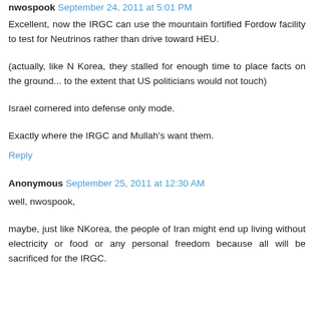nwospook September 24, 2011 at 5:01 PM
Excellent, now the IRGC can use the mountain fortified Fordow facility to test for Neutrinos rather than drive toward HEU.
(actually, like N Korea, they stalled for enough time to place facts on the ground... to the extent that US politicians would not touch)
Israel cornered into defense only mode.
Exactly where the IRGC and Mullah's want them.
Reply
Anonymous September 25, 2011 at 12:30 AM
well, nwospook,
maybe, just like NKorea, the people of Iran might end up living without electricity or food or any personal freedom because all will be sacrificed for the IRGC.